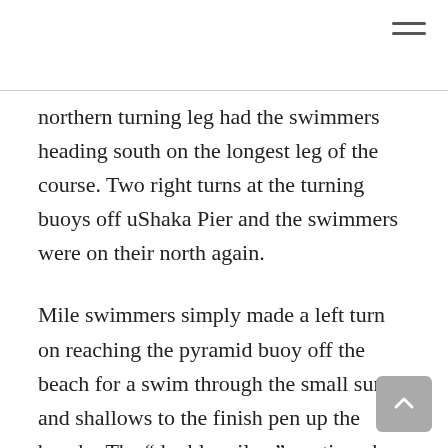northern turning leg had the swimmers heading south on the longest leg of the course. Two right turns at the turning buoys off uShaka Pier and the swimmers were on their north again.
Mile swimmers simply made a left turn on reaching the pyramid buoy off the beach for a swim through the small surf and shallows to the finish pen up the beach.  The “double milers” continued past the red buoy to begin their lengthened second lap of the course to complete the 3.2km distance.
First Mile male finisher was Mark Spencer. First female finisher of the Mile event was Keli Reynolds.